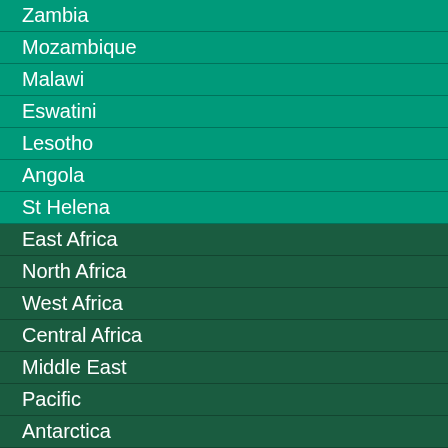Zambia
Mozambique
Malawi
Eswatini
Lesotho
Angola
St Helena
East Africa
North Africa
West Africa
Central Africa
Middle East
Pacific
Antarctica